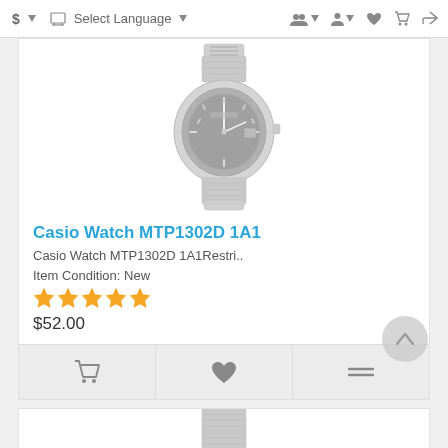$ ▾  Select Language ▾
[Figure (photo): Casio Watch MTP1302D 1A1 product photo - analog wristwatch with silver/grey bracelet and dark dial, shown partially (top portion)]
Casio Watch MTP1302D 1A1
Casio Watch MTP1302D 1A1Restri..
Item Condition: New
★★★★★
$52.00
[Figure (photo): Second product watch photo - partially visible watch at bottom of page]